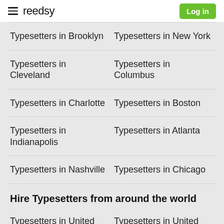reedsy — Log in
Typesetters in Brooklyn
Typesetters in New York
Typesetters in Cleveland
Typesetters in Columbus
Typesetters in Charlotte
Typesetters in Boston
Typesetters in Indianapolis
Typesetters in Atlanta
Typesetters in Nashville
Typesetters in Chicago
Hire Typesetters from around the world
Typesetters in United States
Typesetters in United Kingdom
Typesetters in Canada
Typesetters in Australia